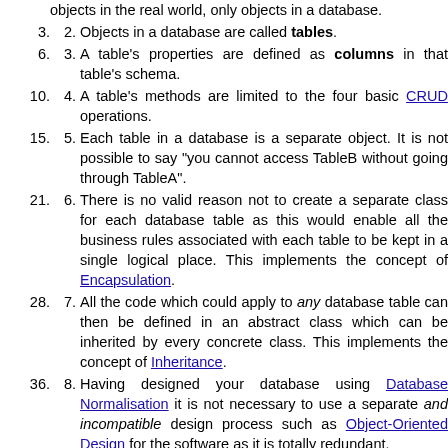objects in the real world, only objects in a database.
Objects in a database are called tables.
A table's properties are defined as columns in that table's schema.
A table's methods are limited to the four basic CRUD operations.
Each table in a database is a separate object. It is not possible to say "you cannot access TableB without going through TableA".
There is no valid reason not to create a separate class for each database table as this would enable all the business rules associated with each table to be kept in a single logical place. This implements the concept of Encapsulation.
All the code which could apply to any database table can then be defined in an abstract class which can be inherited by every concrete class. This implements the concept of Inheritance.
Having designed your database using Database Normalisation it is not necessary to use a separate and incompatible design process such as Object-Oriented Design for the software as it is totally redundant.
Don't waste time looking for IS-A relationships as every object IS-A table, which means that it inherits from a abstract table class.
Don't waste time looking for HAS-A relationships in